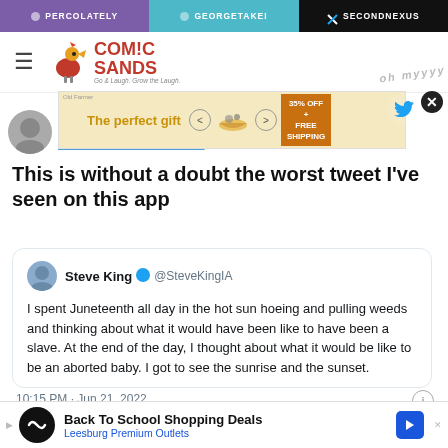PERCOLATELY | GEORGETAKEI | SECONDNEXUS
[Figure (logo): Comic Sands logo with rooster illustration]
[Figure (other): Advertisement banner: The perfect gift, 35% OFF + FREE SHIPPING]
This is without a doubt the worst tweet I’ve seen on this app
Steve King @SteveKingIA
I spent Juneteenth all day in the hot sun hoeing and pulling weeds and thinking about what it would have been like to have been a slave. At the end of the day, I thought about what it would be like to be an aborted baby. I got to see the sunrise and the sunset.
10:15 PM · Jun 21, 2022
[Figure (other): Bottom advertisement: Back To School Shopping Deals, Leesburg Premium Outlets]